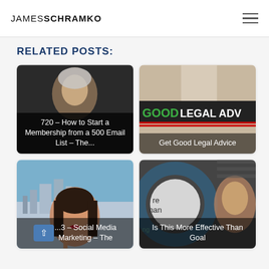JAMES SCHRAMKO
RELATED POSTS:
[Figure (photo): 720 – How to Start a Membership from a 500 Email List – The... (man's face with dark background)]
[Figure (photo): Get Good Legal Advice (person holding paper near Good Legal Advice sign)]
[Figure (photo): ...3 – Social Media Marketing – The (woman with city skyline background)]
[Figure (photo): Is This More Effective Than Goal (man's face with circular graphic overlay)]